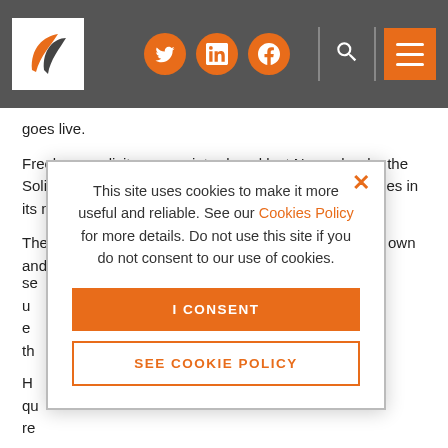Navigation header with logo, social media icons (Twitter, LinkedIn, Facebook), search, and menu
goes live.
Freelance solicitors were introduced last November by the Solicitors Regulation Authority – one of the main changes in its new Standards and Regulations.
They are self-employed solicitors who practise on their own and do not employ anyone else in connection with the se... u... e... th...
H... qu... re...
Ea... fi... so...
[Figure (screenshot): Cookie consent modal overlay with text: 'This site uses cookies to make it more useful and reliable. See our Cookies Policy for more details. Do not use this site if you do not consent to our use of cookies.' Two buttons: 'I CONSENT' (orange filled) and 'SEE COOKIE POLICY' (orange outline). Orange X close button in top right.]